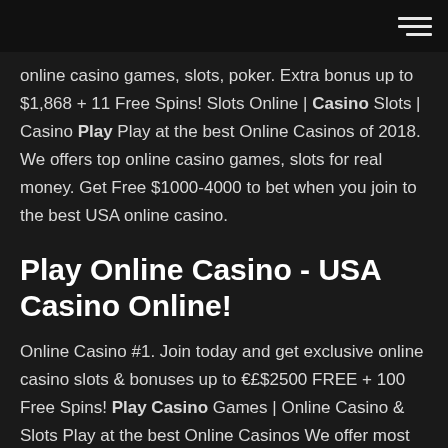[hamburger menu icon]
online casino games, slots, poker. Extra bonus up to $1,868 + 11 Free Spins! Slots Online | Casino Slots | Casino Play Play at the best Online Casinos of 2018. We offers top online casino games, slots for real money. Get Free $1000-4000 to bet when you join to the best USA online casino.
Play Online Casino - USA Casino Online!
Online Casino #1. Join today and get exclusive online casino slots & bonuses up to €£$2500 FREE + 100 Free Spins! Play Casino Games | Online Casino & Slots Play at the best Online Casinos We offer most popular online casino games, slots, poker, videoslots. Get Free $1000-4000 to bet when you join to the best USA online casino. Casino